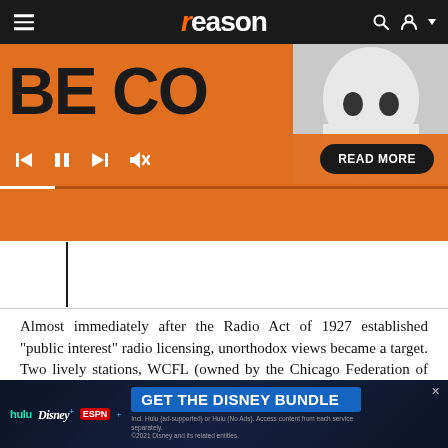reason
[Figure (screenshot): Media player with orange background showing large dark letters 'BE CO', player controls (previous, pause, next, mute icons), a gray ghost figure silhouette on the right, a black 'READ MORE' button, and a progress bar timeline line below.]
Almost immediately after the Radio Act of 1927 established "public interest" radio licensing, unorthodox views became a target. Two lively stations, WCFL (owned by the Chicago Federation of Labor) and WEVD (owned by the Socialist Party) came up for license renewals in 1929. The Federal Radio Commission (superseded by the FCC in 1934) we [obscured] regulatory term of [obscured] Sanctions, including limits on the amount of electricity they could [obscured]
[Figure (screenshot): Advertisement banner for Disney Bundle showing Hulu, Disney+, ESPN+ logos with text 'GET THE DISNEY BUNDLE' and fine print about subscription options. ©2021 Disney and its related entities.]